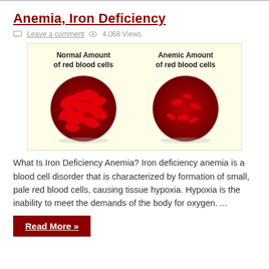Anemia, Iron Deficiency
Leave a comment  4,068 Views
[Figure (illustration): Medical illustration comparing Normal Amount of red blood cells (full, round, abundant red blood cells in a circular view) vs Anemic Amount of red blood cells (sparse, small red blood cells in a circular view), shown on a light yellow background.]
What Is Iron Deficiency Anemia? Iron deficiency anemia is a blood cell disorder that is characterized by formation of small, pale red blood cells, causing tissue hypoxia. Hypoxia is the inability to meet the demands of the body for oxygen. ...
Read More »